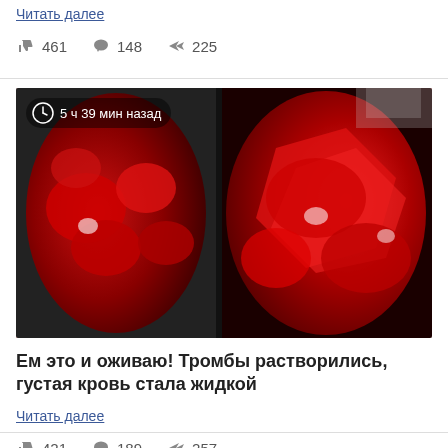Читать далее
👍 461   💬 148   ➤ 225
[Figure (photo): Two glass jars filled with red beet or fruit pieces in liquid, photographed close-up. A clock icon and timestamp '5 ч 39 мин назад' overlay the top-left corner.]
Ем это и оживаю! Тромбы растворились, густая кровь стала жидкой
Читать далее
👍 421   💬 189   ➤ 257